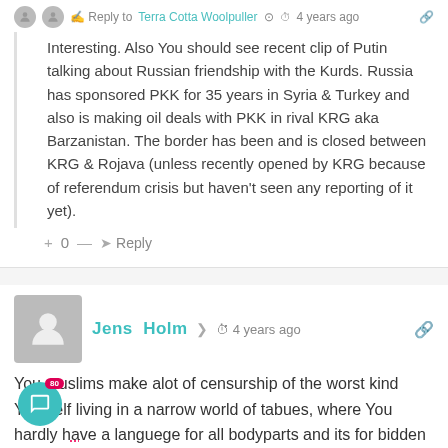Reply to Terra Cotta Woolpuller  4 years ago
Interesting. Also You should see recent clip of Putin talking about Russian friendship with the Kurds. Russia has sponsored PKK for 35 years in Syria & Turkey and also is making oil deals with PKK in rival KRG aka Barzanistan. The border has been and is closed between KRG & Rojava (unless recently opened by KRG because of referendum crisis but haven't seen any reporting of it yet).
+ 0 — Reply
Jens Holm  4 years ago
You muslims make alot of censurship of the worst kind Yourself living in a narrow world of tabues, where You hardly have a languege for all bodyparts and its for bidden to talk about it – well more or less but hard i n muslim countries.

So dont come and tell others are not allowed, when others do